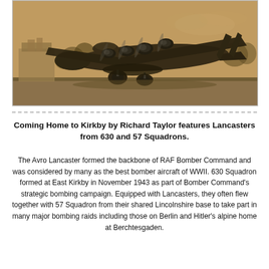[Figure (illustration): Sepia-toned illustration of an Avro Lancaster bomber aircraft on a runway, low angle view, with buildings and trees in background. Vintage artistic style.]
Coming Home to Kirkby by Richard Taylor features Lancasters from 630 and 57 Squadrons.
The Avro Lancaster formed the backbone of RAF Bomber Command and was considered by many as the best bomber aircraft of WWII. 630 Squadron formed at East Kirkby in November 1943 as part of Bomber Command's strategic bombing campaign. Equipped with Lancasters, they often flew together with 57 Squadron from their shared Lincolnshire base to take part in many major bombing raids including those on Berlin and Hitler's alpine home at Berchtesgaden.